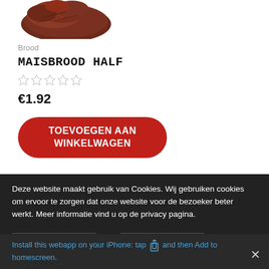[Figure (photo): Partial product image of maisbrood (corn bread) at the top of the page, cropped]
Brood
MAISBROOD HALF
[Figure (other): Five empty/outline star rating icons]
€1.92
TOEVOEGEN AAN WINKELWAGEN
Deze website maakt gebruik van Cookies. Wij gebruiken cookies om ervoor te zorgen dat onze website voor de bezoeker beter werkt. Meer informatie vind u op de privacy pagina.
Install this webapp on your iPhone: tap  and then Add to homescreen.